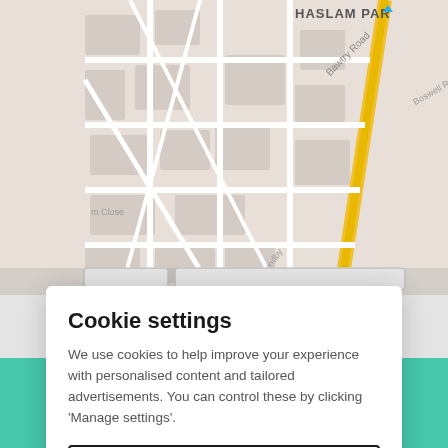[Figure (map): Street map showing Haslam Park area with roads including Boswell Road, Ellers Avenue, Middlefield Road, Bawtry Road (highlighted in yellow), Saundby Close, and other local streets.]
Cookie settings
We use cookies to help improve your experience with personalised content and tailored advertisements. You can control these by clicking 'Manage settings'.
Manage settings
Allow all cookies
Email agent
Call agent